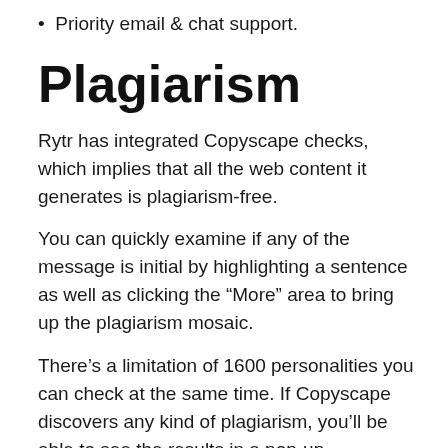Priority email & chat support.
Plagiarism
Rytr has integrated Copyscape checks, which implies that all the web content it generates is plagiarism-free.
You can quickly examine if any of the message is initial by highlighting a sentence as well as clicking the “More” area to bring up the plagiarism mosaic.
There’s a limitation of 1600 personalities you can check at the same time. If Copyscape discovers any kind of plagiarism, you’ll be able to see the results in a pop-up.